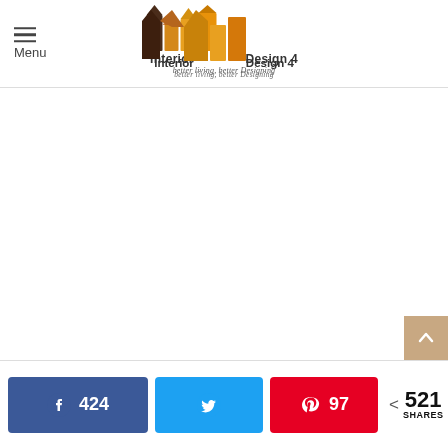Menu | Interior Design 4 — better living, better Designing
[Figure (other): White content area (blank/loading image area)]
424 [Facebook] | [Twitter] | 97 [Pinterest] | < 521 SHARES